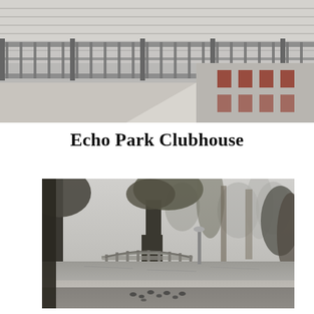[Figure (photo): Black and white photograph of a metal fence/railing along a sidewalk with a building in the background]
Echo Park Clubhouse
[Figure (photo): Black and white photograph of Echo Park with trees, a footbridge over a lake/pond, palm trees, and birds on the ground in the foreground]